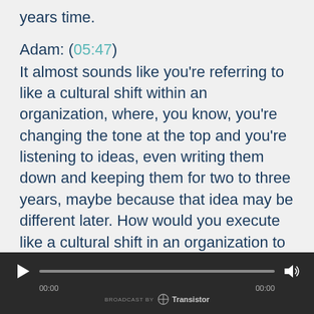years time.
Adam: (05:47)
It almost sounds like you're referring to like a cultural shift within an organization, where, you know, you're changing the tone at the top and you're listening to ideas, even writing them down and keeping them for two to three years, maybe because that idea may be different later. How would you execute like a cultural shift in an organization to make sure that the transformation is successful?
[Figure (other): Audio player bar with play button, progress bar, volume icon, timestamps 00:00 on both sides, and 'BROADCAST BY Transistor' branding at the bottom]